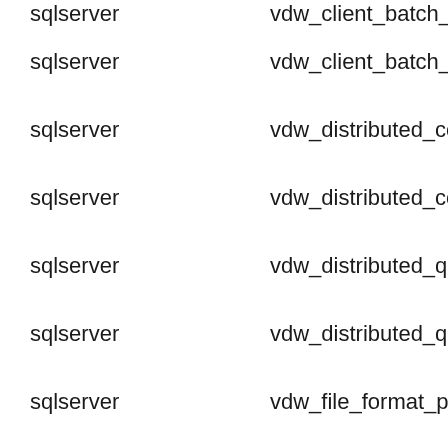| source | name |
| --- | --- |
| sqlserver | vdw_client_batch_complete… |
| sqlserver | vdw_client_batch_submitt… |
| sqlserver | vdw_distributed_computat… |
| sqlserver | vdw_distributed_computat… |
| sqlserver | vdw_distributed_query_cle… |
| sqlserver | vdw_distributed_query_me… |
| sqlserver | vdw_file_format_parser_ver… |
| sqlserver | vdw_file_level_sampling |